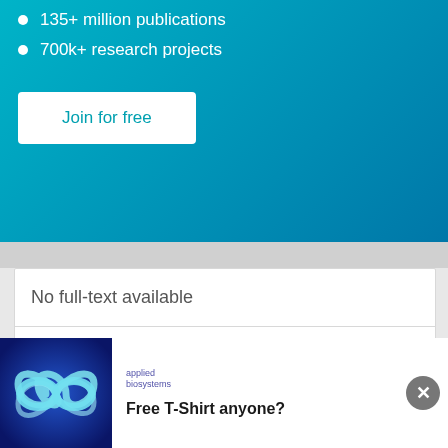135+ million publications
700k+ research projects
Join for free
No full-text available
Advertisement
[Figure (illustration): Applied Biosystems advertisement with infinity symbol logo on blue background]
applied biosystems
Free T-Shirt anyone?